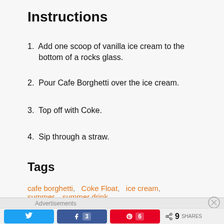Instructions
1. Add one scoop of vanilla ice cream to the bottom of a rocks glass.
2. Pour Cafe Borghetti over the ice cream.
3. Top off with Coke.
4. Sip through a straw.
Tags
cafe borghetti,  Coke Float,  ice cream,  summer,  summer drink
Advertisements
Twitter share | Facebook 3 | Pinterest 6 | < 9 SHARES